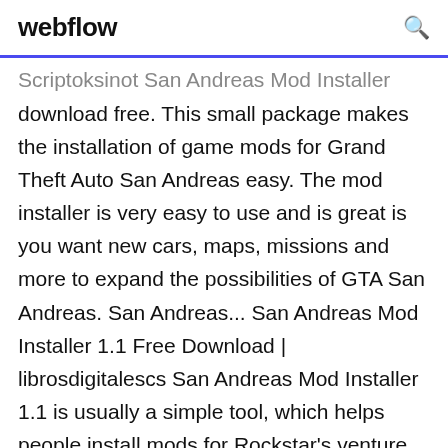webflow
Scriptoksinot San Andreas Mod Installer download free. This small package makes the installation of game mods for Grand Theft Auto San Andreas easy. The mod installer is very easy to use and is great is you want new cars, maps, missions and more to expand the possibilities of GTA San Andreas. San Andreas... San Andreas Mod Installer 1.1 Free Download | librosdigitalescs San Andreas Mod Installer 1.1 is usually a simple tool, which helps people install mods for Rockstar's venture. The mod installer will guide you through the whole process, from finding the elements you want to upgrade inside the game's installment folder to replacing them using the corresponding